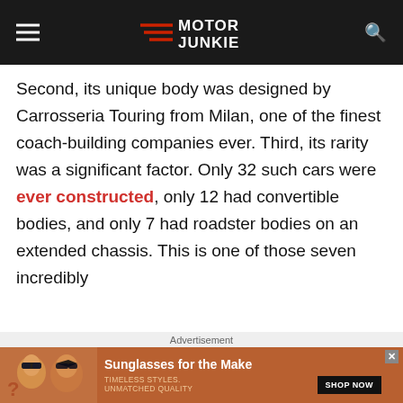Motor Junkie
Second, its unique body was designed by Carrosseria Touring from Milan, one of the finest coach-building companies ever. Third, its rarity was a significant factor. Only 32 such cars were ever constructed, only 12 had convertible bodies, and only 7 had roadster bodies on an extended chassis. This is one of those seven incredibly
Advertisement
[Figure (other): Advertisement banner for sunglasses: shows two women wearing sunglasses on an orange background, with text 'Sunglasses for the Make', 'TIMELESS STYLES. UNMATCHED QUALITY', and a 'SHOP NOW' button.]